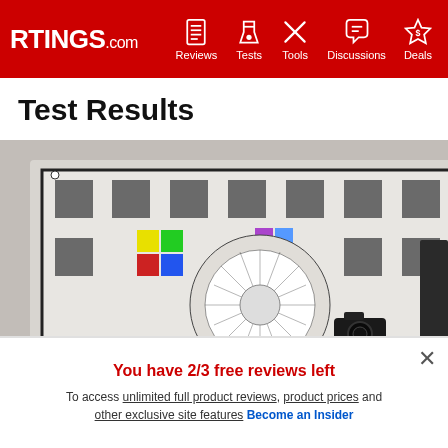RTINGS.com — Reviews, Tests, Tools, Discussions, Deals
Test Results
[Figure (photo): A color calibration test chart mounted on a wall being photographed by a camera on a tripod in a testing room.]
You have 2/3 free reviews left
To access unlimited full product reviews, product prices and other exclusive site features Become an Insider